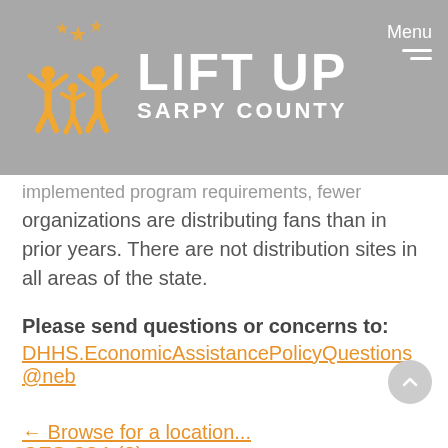[Figure (logo): Lift Up Sarpy County logo with orange family figure illustration and white bold text reading LIFT UP SARPY COUNTY on grey background]
implemented program requirements, fewer organizations are distributing fans than in prior years. There are not distribution sites in all areas of the state.
Please send questions or concerns to:
DHHS.EconomicAssistancePolicyQuestions@neb
CFS-224 (2)
← Browse for a location...